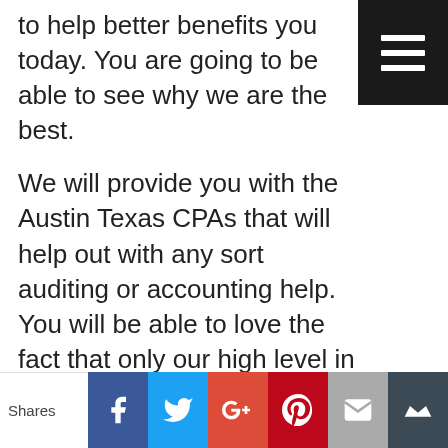to help better benefits you today. You are going to be able to see why we are the best.
We will provide you with the Austin Texas CPAs that will help out with any sort auditing or accounting help. You will be able to love the fact that only our high level in our most magnificent services will be there to help better benefits you today. Hood And Associates CPAs will be able to make sure that you are going to be absolutely thrilled with our amazing services today. You will be able to make sure that this is going to be fantastic, and
[Figure (infographic): Social sharing bar with Facebook, Twitter, Google+, Pinterest, Email, and bookmark buttons, with a 'Shares' label on the left]